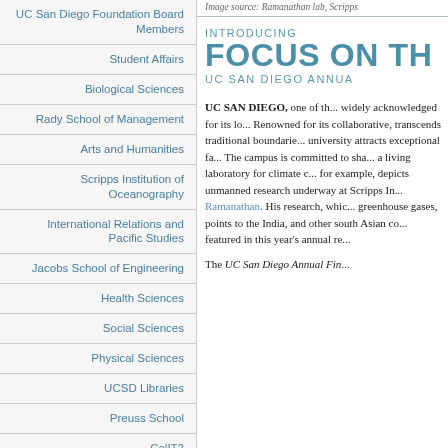Image source: Ramanathan lab, Scripps
UC San Diego Foundation Board Members
Student Affairs
Biological Sciences
Rady School of Management
Arts and Humanities
Scripps Institution of Oceanography
International Relations and Pacific Studies
Jacobs School of Engineering
Health Sciences
Social Sciences
Physical Sciences
UCSD Libraries
Preuss School
CalIT2
INTRODUCING FOCUS ON TH... UC SAN DIEGO ANNUA...
UC SAN DIEGO, one of th... widely acknowledged for its lo... Renowned for its collaborative, transcends traditional boundarie... university attracts exceptional fa... The campus is committed to sha... a living laboratory for climate c... for example, depicts unmanned research underway at Scripps In... Ramanathan. His research, whic... greenhouse gases, points to the India, and other south Asian co... featured in this year's annual re...
The UC San Diego Annual Fin...